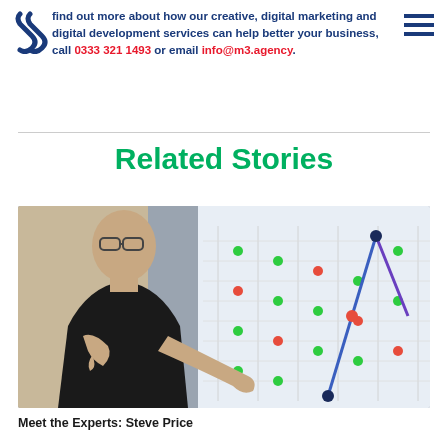find out more about how our creative, digital marketing and digital development services can help better your business, call 0333 321 1493 or email info@m3.agency.
Related Stories
[Figure (photo): A man in a black t-shirt wearing glasses, gesturing with his hands in front of a large display screen showing a colourful dot-plot or bubble chart diagram.]
Meet the Experts: Steve Price